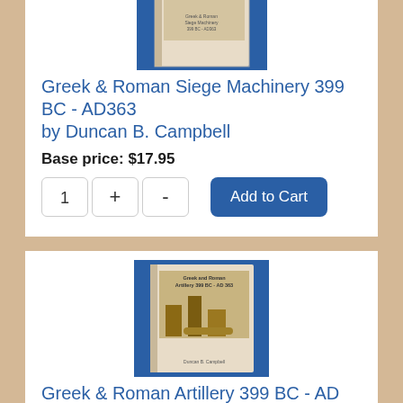[Figure (photo): Photo of a book titled 'Greek & Roman Siege Machinery 399 BC - AD363' on a blue background, partially cropped at top]
Greek & Roman Siege Machinery 399 BC - AD363 by Duncan B. Campbell
Base price: $17.95
[Figure (photo): Photo of a book titled 'Greek and Roman Artillery 399 BC - AD 363' on a blue background]
Greek & Roman Artillery 399 BC - AD 363 by Duncan B. Campbell
Base price: $17.95